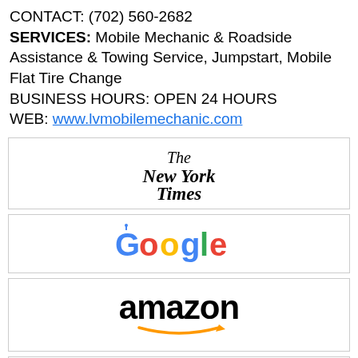CONTACT: (702) 560-2682
SERVICES: Mobile Mechanic & Roadside Assistance & Towing Service, Jumpstart, Mobile Flat Tire Change
BUSINESS HOURS: OPEN 24 HOURS
WEB: www.lvmobilemechanic.com
[Figure (logo): The New York Times logo in blackletter/gothic font]
[Figure (logo): Google logo in multicolor letters]
[Figure (logo): Amazon logo in bold black text with orange arrow]
[Figure (logo): Partially visible box at bottom of page]